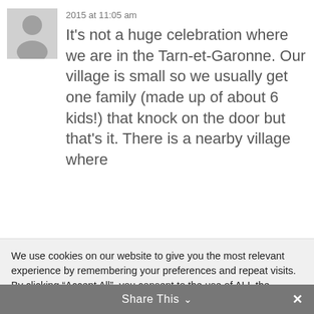2015 at 11:05 am
It’s not a huge celebration where we are in the Tarn-et-Garonne. Our village is small so we usually get one family (made up of about 6 kids!) that knock on the door but that’s it. There is a nearby village where
We use cookies on our website to give you the most relevant experience by remembering your preferences and repeat visits. By clicking “Accept All”, you consent to the use of ALL the cookies. However, you may visit "Cookie Settings" to provide a controlled consent.
Cookie Settings
Accept All
Share This